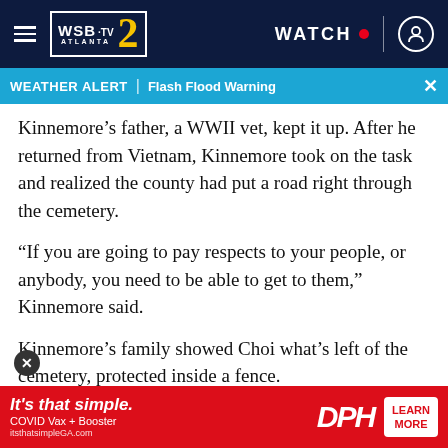WSB-TV 2 Atlanta | WATCH
WEATHER ALERT | Flash Flood Warning
Kinnemore’s father, a WWII vet, kept it up. After he returned from Vietnam, Kinnemore took on the task and realized the county had put a road right through the cemetery.
“If you are going to pay respects to your people, or anybody, you need to be able to get to them,” Kinnemore said.
Kinnemore’s family showed Choi what’s left of the cemetery, protected inside a fence.
They said what’s not protected are the bodies under the ro
[Figure (other): DPH advertisement banner: It’s that simple. COVID Vax + Booster. itsthatsimpleGA.com. DPH logo. LEARN MORE button.]